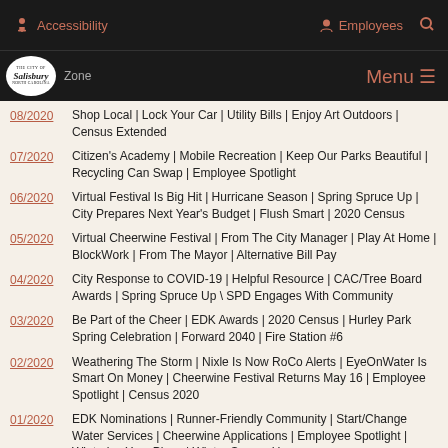Accessibility | Employees | Search
The City of Salisbury | Zone | Menu
08/2020 – Shop Local | Lock Your Car | Utility Bills | Enjoy Art Outdoors | Census Extended
07/2020 – Citizen's Academy | Mobile Recreation | Keep Our Parks Beautiful | Recycling Can Swap | Employee Spotlight
06/2020 – Virtual Festival Is Big Hit | Hurricane Season | Spring Spruce Up | City Prepares Next Year's Budget | Flush Smart | 2020 Census
05/2020 – Virtual Cheerwine Festival | From The City Manager | Play At Home | BlockWork | From The Mayor | Alternative Bill Pay
04/2020 – City Response to COVID-19 | Helpful Resource | CAC/Tree Board Awards | Spring Spruce Up \ SPD Engages With Community
03/2020 – Be Part of the Cheer | EDK Awards | 2020 Census | Hurley Park Spring Celebration | Forward 2040 | Fire Station #6
02/2020 – Weathering The Storm | Nixle Is Now RoCo Alerts | EyeOnWater Is Smart On Money | Cheerwine Festival Returns May 16 | Employee Spotlight | Census 2020
01/2020 – EDK Nominations | Runner-Friendly Community | Start/Change Water Services | Cheerwine Applications | Employee Spotlight | Winterize Your Pipes | Winter Spruce Up